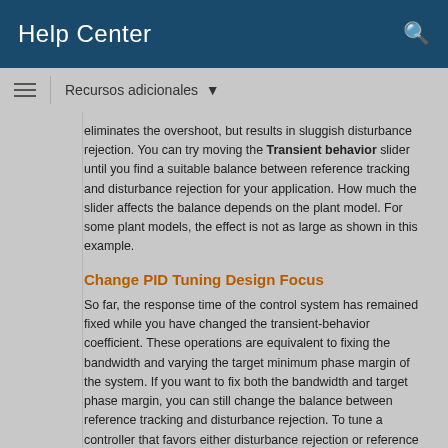Help Center
Recursos adicionales
eliminates the overshoot, but results in sluggish disturbance rejection. You can try moving the Transient behavior slider until you find a suitable balance between reference tracking and disturbance rejection for your application. How much the slider affects the balance depends on the plant model. For some plant models, the effect is not as large as shown in this example.
Change PID Tuning Design Focus
So far, the response time of the control system has remained fixed while you have changed the transient-behavior coefficient. These operations are equivalent to fixing the bandwidth and varying the target minimum phase margin of the system. If you want to fix both the bandwidth and target phase margin, you can still change the balance between reference tracking and disturbance rejection. To tune a controller that favors either disturbance rejection or reference tracking, you change the design focus of the PID tuning algorithm.
Changing the PID Tuner design focus is more effective the more